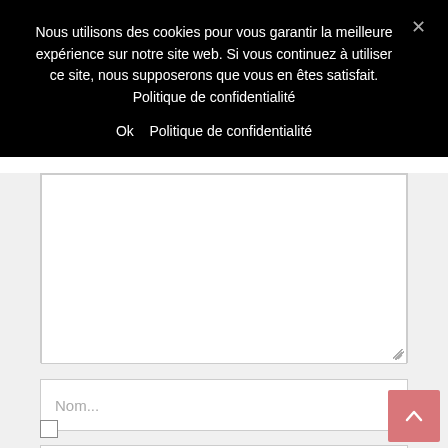Nous utilisons des cookies pour vous garantir la meilleure expérience sur notre site web. Si vous continuez à utiliser ce site, nous supposerons que vous en êtes satisfait. Politique de confidentialité
Ok   Politique de confidentialité
[Figure (screenshot): Large textarea input field (comment box) with resize handle in bottom-right corner]
[Figure (screenshot): Text input field with placeholder text 'Nom...']
[Figure (screenshot): Text input field with placeholder text 'Email...']
[Figure (screenshot): Checkbox (unchecked) at bottom left of form area]